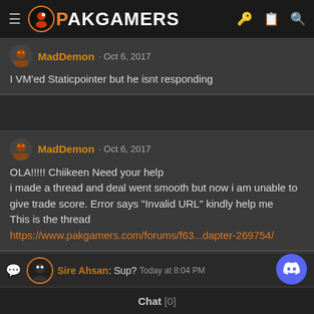PAKGAMERS
MadDemon · Oct 6, 2017
I VM'ed Staticpointer but he isnt responding
MadDemon · Oct 6, 2017
OLA!!!!! Chiikeen Need your help
i made a thread and deal went smooth but now i am unable to give trade score. Error says "Invalid URL" kindly help me
This is the thread
https://www.pakgamers.com/forums/f63...dapter-269754/
Sire Ahsan: Sup? Today at 8:04 PM
Chat [0]